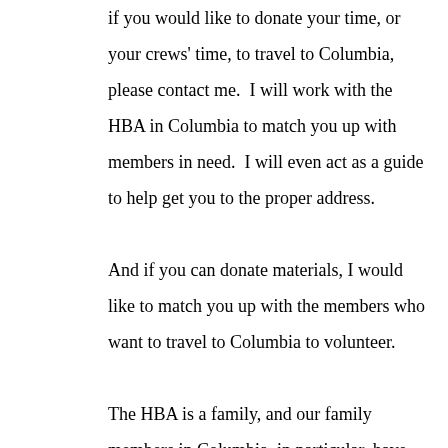if you would like to donate your time, or your crews' time, to travel to Columbia, please contact me.  I will work with the HBA in Columbia to match you up with members in need.  I will even act as a guide to help get you to the proper address.

And if you can donate materials, I would like to match you up with the members who want to travel to Columbia to volunteer.

The HBA is a family, and our family members in Columbia, in particular, have some significant needs.  I was in Columbia for two days this past weekend, very near to the worst of the disaster along Gills Creek.  The pictures do not do it justice.  What happened there is tragic.  Two entire cities, Forest Acres and Acadia Lakes, are literally under water.  The